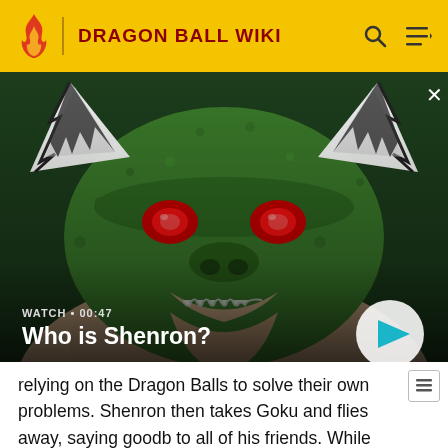DRAGON BALL WIKI
[Figure (screenshot): Video thumbnail showing a close-up of a green dragon character (Shenron) with red eyes, white horns, and muscular build. Overlay shows 'WATCH • 00:47' and title 'Who is Shenron?' with a play button on the right.]
relying on the Dragon Balls to solve their own problems. Shenron then takes Goku and flies away, saying goodb to all of his friends. While flying through beautiful golden clouds, Shenron seals the Dragon Balls inside Goku's body, causing him to disappear. He then roars and flies